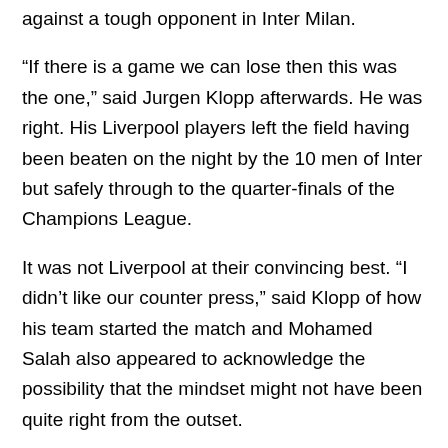against a tough opponent in Inter Milan.
“If there is a game we can lose then this was the one,” said Jurgen Klopp afterwards. He was right. His Liverpool players left the field having been beaten on the night by the 10 men of Inter but safely through to the quarter-finals of the Champions League.
It was not Liverpool at their convincing best. “I didn’t like our counter press,” said Klopp of how his team started the match and Mohamed Salah also appeared to acknowledge the possibility that the mindset might not have been quite right from the outset.
Liverpool 0-1 Inter (2-1 agg) – Match report
How the teams lined up | Match stats
“Maybe at the back of our mind we felt overconfident at the